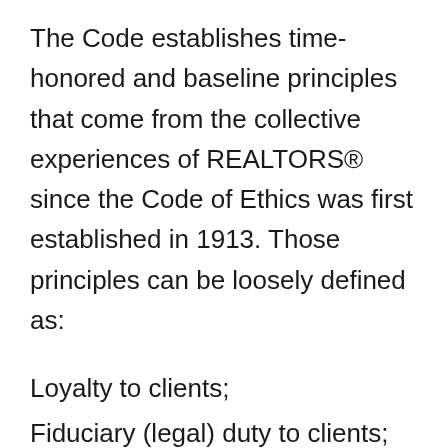The Code establishes time-honored and baseline principles that come from the collective experiences of REALTORS® since the Code of Ethics was first established in 1913. Those principles can be loosely defined as:
Loyalty to clients;
Fiduciary (legal) duty to clients;
Cooperation with competitors;
Truthfulness in statements and advertising;
and non-interference in exclusive